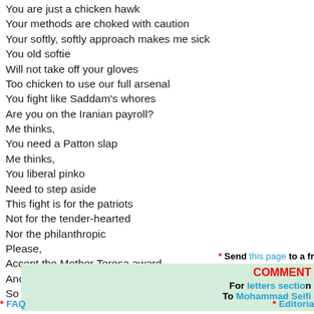You are just a chicken hawk
Your methods are choked with caution
Your softly, softly approach makes me sick
You old softie
Will not take off your gloves
Too chicken to use our full arsenal
You fight like Saddam's whores
Are you on the Iranian payroll?
Me thinks,
You need a Patton slap
Me thinks,
You liberal pinko
Need to step aside
This fight is for the patriots
Not for the tender-hearted
Nor the philanthropic
Please,
Accept the Mother Teresa award
And leave your post
So we can fight
* Send this page to a fr
COMMENT
For letters section
To Mohammad Seifi
* FAQ
* Editoria